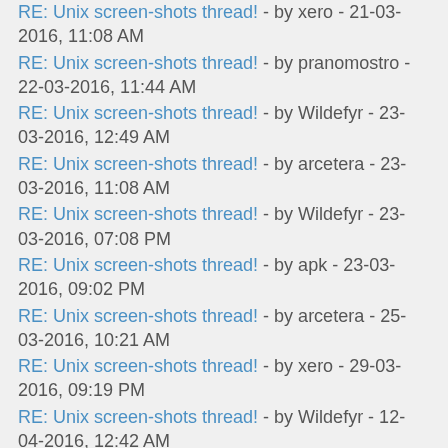RE: Unix screen-shots thread! - by xero - 21-03-2016, 11:08 AM
RE: Unix screen-shots thread! - by pranomostro - 22-03-2016, 11:44 AM
RE: Unix screen-shots thread! - by Wildefyr - 23-03-2016, 12:49 AM
RE: Unix screen-shots thread! - by arcetera - 23-03-2016, 11:08 AM
RE: Unix screen-shots thread! - by Wildefyr - 23-03-2016, 07:08 PM
RE: Unix screen-shots thread! - by apk - 23-03-2016, 09:02 PM
RE: Unix screen-shots thread! - by arcetera - 25-03-2016, 10:21 AM
RE: Unix screen-shots thread! - by xero - 29-03-2016, 09:19 PM
RE: Unix screen-shots thread! - by Wildefyr - 12-04-2016, 12:42 AM
RE: Unix screen-shots thread! - by arcetera - 12-04-2016, 09:33 AM
RE: Unix screen-shots thread! - by tudurom - 17-04-2016, 03:38 PM